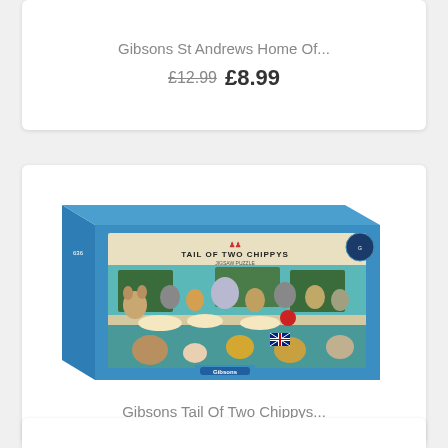Gibsons St Andrews Home Of...
£12.99 £8.99
[Figure (photo): Gibsons 'Tail Of Two Chippys' jigsaw puzzle box showing cartoon cats and dogs at a fish and chip shop, panoramic image]
Gibsons Tail Of Two Chippys...
£12.99